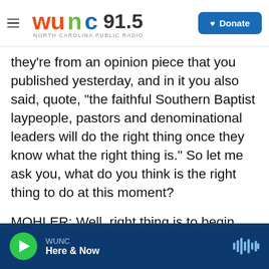WUNC 91.5 NORTH CAROLINA PUBLIC RADIO | Donate
they're from an opinion piece that you published yesterday, and in it you also said, quote, "the faithful Southern Baptist laypeople, pastors and denominational leaders will do the right thing once they know what the right thing is." So let me ask you, what do you think is the right thing to do at this moment?
MOHLER: Well, right thing is to begin with lament and concern for those whose lives have obviously been so wounded and to recognize a demand of years, indeed many years, of people who've been coming forward and been quite frustrated. So what
WUNC | Here & Now